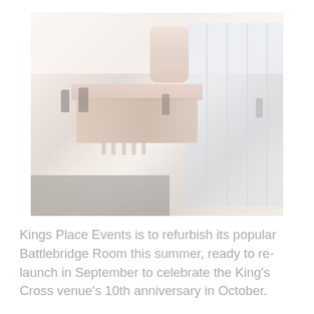[Figure (illustration): A washed-out architectural rendering/illustration of an interior event space showing a bar counter with pendant lamp overhead, glass wall panels on the right, silhouetted figures, and a grey carpet area in the foreground. The image has a faded, light colour palette.]
Kings Place Events is to refurbish its popular Battlebridge Room this summer, ready to re-launch in September to celebrate the King's Cross venue's 10th anniversary in October.
The canal-side room features a private, covered